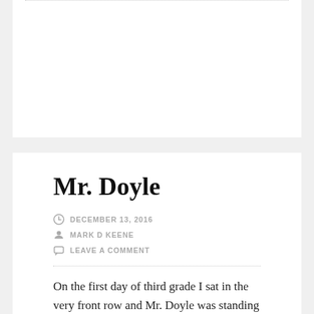Mr. Doyle
DECEMBER 13, 2016
MARK D KEENE
LEAVE A COMMENT
On the first day of third grade I sat in the very front row and Mr. Doyle was standing in front of me. When we stood up to do the Pledge he looked down at me, made this frowny face and dropped